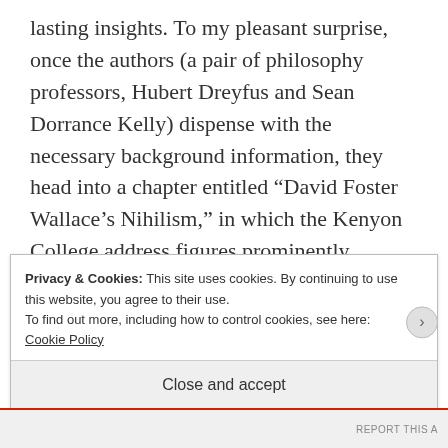lasting insights. To my pleasant surprise, once the authors (a pair of philosophy professors, Hubert Dreyfus and Sean Dorrance Kelly) dispense with the necessary background information, they head into a chapter entitled “David Foster Wallace’s Nihilism,” in which the Kenyon College address figures prominently.
Privacy & Cookies: This site uses cookies. By continuing to use this website, you agree to their use.
To find out more, including how to control cookies, see here: Cookie Policy
Close and accept